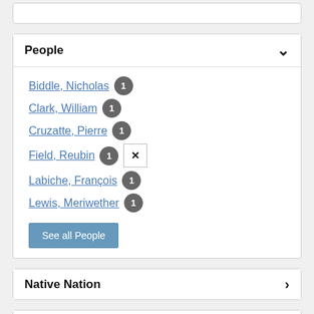People
Biddle, Nicholas 1
Clark, William 1
Cruzatte, Pierre 1
Field, Reubin 1 [x]
Labiche, François 1
Lewis, Meriwether 1
See all People
Native Nation
Place